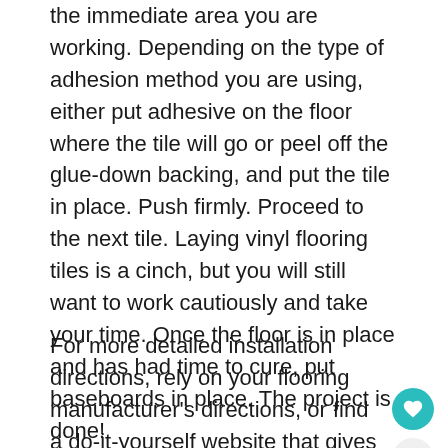the immediate area you are working. Depending on the type of adhesion method you are using, either put adhesive on the floor where the tile will go or peel off the glue-down backing, and put the tile in place. Push firmly. Proceed to the next tile. Laying vinyl flooring tiles is a cinch, but you will still want to work cautiously and take your time. Once the floor is in place and has had time to cure, put baseboards in place. The project is done!
For more detailed installation directions, rely on your flooring manufacturer's directions, or find a do-it-yourself website that gives you step by step directions with pictures or follow a video like this one: